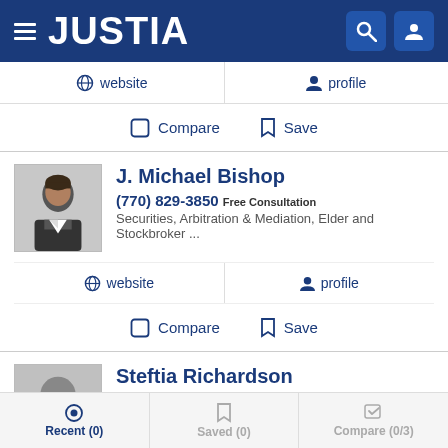JUSTIA
website   profile
Compare   Save
J. Michael Bishop
(770) 829-3850 Free Consultation
Securities, Arbitration & Mediation, Elder and Stockbroker ...
website   profile
Compare   Save
Steftia Richardson
(678) 569-3463
Recent (0)   Saved (0)   Compare (0/3)